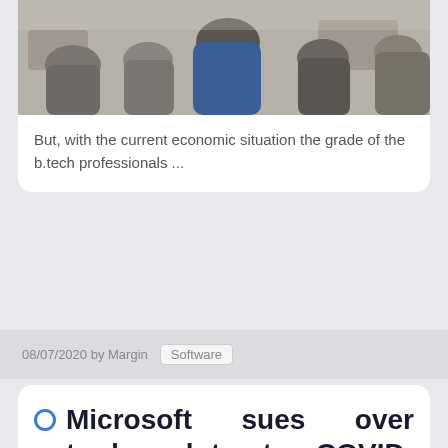[Figure (photo): People sitting in chairs viewed from behind, in a classroom or meeting setting]
But, with the current economic situation the grade of the b.tech professionals ...
08/07/2020 by Margin  Software
Microsoft sues over trademark to stop COVID-19 hacking campaign
The phishing scheme targeted 62 countries and sent out millions of deceptive emails, claiming to come th...